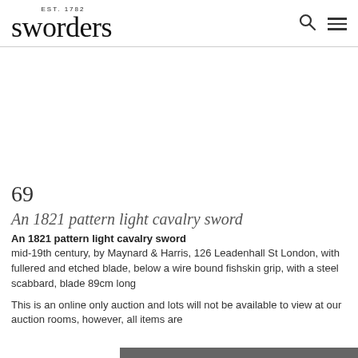EST. 1782 sworders
69
An 1821 pattern light cavalry sword
An 1821 pattern light cavalry sword
mid-19th century, by Maynard & Harris, 126 Leadenhall St London, with fullered and etched blade, below a wire bound fishskin grip, with a steel scabbard, blade 89cm long
This is an online only auction and lots will not be available to view at our auction rooms, however, all items are
We use cookies to improve your experience and our service. To accept cookies continue browsing as normal. Read our Cookie Policy for more information.
Ok